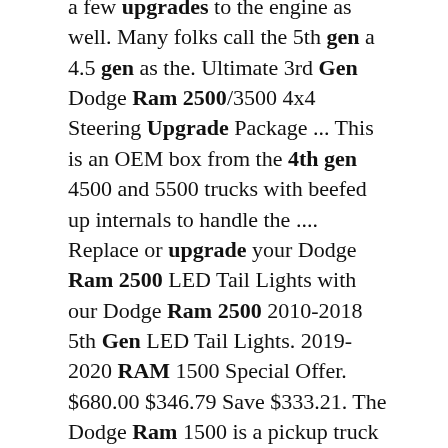a few upgrades to the engine as well. Many folks call the 5th gen a 4.5 gen as the. Ultimate 3rd Gen Dodge Ram 2500/3500 4x4 Steering Upgrade Package ... This is an OEM box from the 4th gen 4500 and 5500 trucks with beefed up internals to handle the .... Replace or upgrade your Dodge Ram 2500 LED Tail Lights with our Dodge Ram 2500 2010-2018 5th Gen LED Tail Lights. 2019-2020 RAM 1500 Special Offer. $680.00 $346.79 Save $333.21. The Dodge Ram 1500 is a pickup truck that is acknowledged for combining work capabilities with style and comfort. On such a vehicle, headlights perform two functions. wausau > auto parts - by owner ... Posted 5 days ago. Contact Information: print. 4th gen Ram 2500 3500 Dually kit - $4,750 (Birnamwood) ‹ image 1. Foxbody updated Second Generation Dodge Ram with a new update entry: Texture updates, bug fixes, and more! View attachment 1020. Happy to